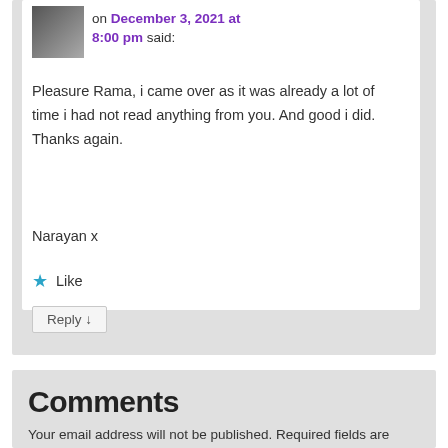on December 3, 2021 at 8:00 pm said:
Pleasure Rama, i came over as it was already a lot of time i had not read anything from you. And good i did. Thanks again.

Narayan x
★ Like
Reply ↓
Comments
Your email address will not be published. Required fields are marked *